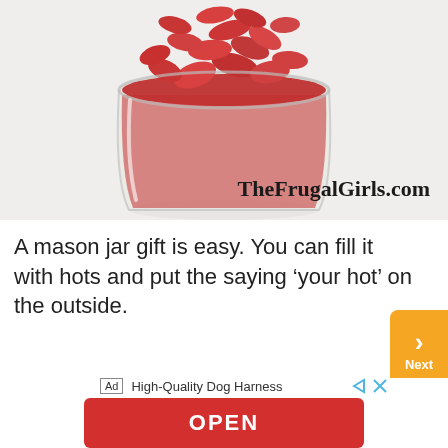[Figure (photo): A glass mason jar filled with red hot candies/cinnamon candy, photographed from above/side on a white background. Watermark 'TheFrugalGirls.com' in bottom right.]
A mason jar gift is easy. You can fill it with hots and put the saying ‘your hot’ on the outside.
[Figure (infographic): Next button (orange circle with chevron and 'Next' label) on right side]
[Figure (infographic): Advertisement banner: 'Ad High-Quality Dog Harness' with OPEN button in red]